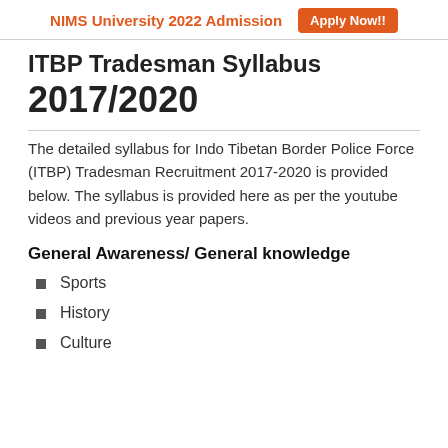NIMS University 2022 Admission  Apply Now!!
ITBP Tradesman Syllabus 2017/2020
The detailed syllabus for Indo Tibetan Border Police Force (ITBP) Tradesman Recruitment 2017-2020 is provided below. The syllabus is provided here as per the youtube videos and previous year papers.
General Awareness/ General knowledge
Sports
History
Culture